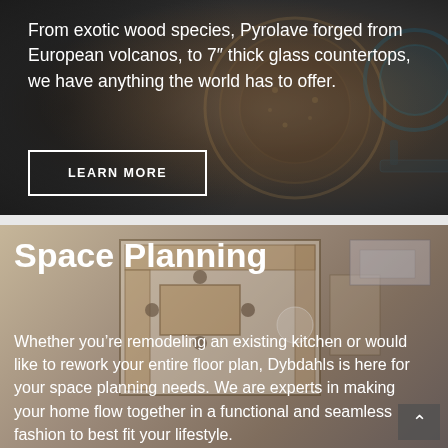[Figure (photo): Dark background with metallic/industrial textures suggesting exotic materials — wood, volcanic stone, glass countertops. Top banner section with overlay text.]
From exotic wood species, Pyrolave forged from European volcanos, to 7" thick glass countertops, we have anything the world has to offer.
LEARN MORE
[Figure (illustration): Overhead/top-down 3D floor plan illustration of a kitchen layout with warm wood-tone cabinets, showing space planning layout.]
Space Planning
Whether you’re remodeling an existing kitchen or would like to rework your entire floor plan, Dybdahls is here for your space planning needs. We are experts in making your home flow together in a functional and seamless fashion to best fit your lifestyle.